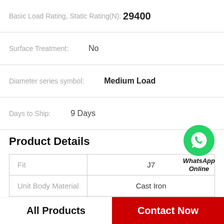Basic Load Rating, Static Rating(N): 29400
Surface Treatment: No
Diameter series symbol: Medium Load
Days to Ship: 9 Days
Product Details
[Figure (logo): WhatsApp Online green phone icon with label WhatsApp Online]
|  |  |
| --- | --- |
| Fit | J7 |
| Unit Body Material | Cast Iron |
| Bearing Inner Dia. Shape | Cylindrical Bore Set |
All Products
Contact Now